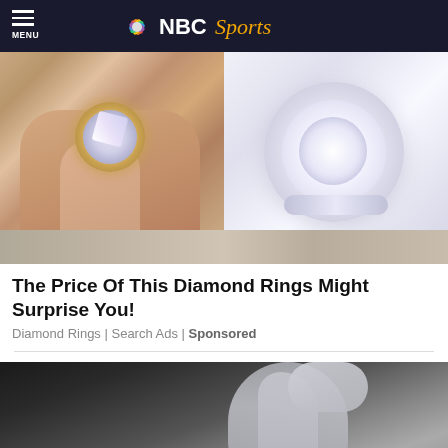MENU | NBC Sports
[Figure (photo): Collage of diamond engagement rings - top left shows a rose gold halo diamond ring on a hand, top right shows a white gold/platinum halo ring on white background, bottom shows partial warm-toned background]
The Price Of This Diamond Rings Might Surprise You!
Diamond Rings | Search Ads | Sponsored
[Figure (photo): Person wearing a grey athletic/sports bra and leggings, back view, dark background]